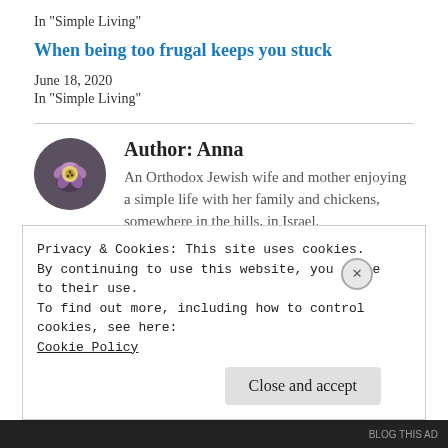In "Simple Living"
When being too frugal keeps you stuck
June 18, 2020
In "Simple Living"
Author: Anna
An Orthodox Jewish wife and mother enjoying a simple life with her family and chickens, somewhere in the hills, in Israel.
View all posts by Anna
Privacy & Cookies: This site uses cookies. By continuing to use this website, you agree to their use.
To find out more, including how to control cookies, see here:
Cookie Policy
Close and accept